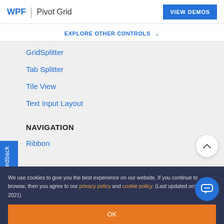WPF | Pivot Grid
EXPLORE OTHER CONTROLS ˅
GridSplitter
Tab Splitter
Tile View
Text Input Layout
NAVIGATION
Ribbon
We use cookies to give you the best experience on our website. If you continue to browse, then you agree to our privacy policy and cookie policy. (Last updated on: April 7, 2021)
OK